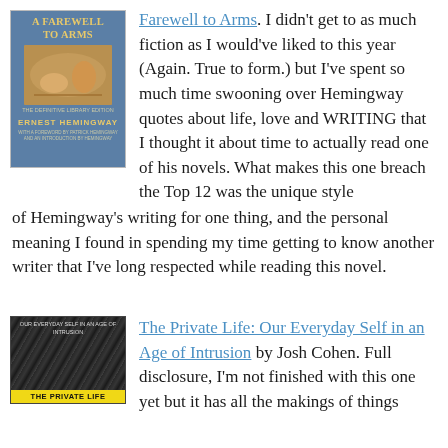[Figure (illustration): Book cover of 'A Farewell to Arms' by Ernest Hemingway, blue cover with decorative figures]
Farewell to Arms. I didn't get to as much fiction as I would've liked to this year (Again. True to form.) but I've spent so much time swooning over Hemingway quotes about life, love and WRITING that I thought it about time to actually read one of his novels. What makes this one breach the Top 12 was the unique style of Hemingway's writing for one thing, and the personal meaning I found in spending my time getting to know another writer that I've long respected while reading this novel.
[Figure (illustration): Book cover of 'The Private Life: Our Everyday Self in an Age of Intrusion' by Josh Cohen, black and white photo of crowd]
The Private Life: Our Everyday Self in an Age of Intrusion by Josh Cohen. Full disclosure, I'm not finished with this one yet but it has all the makings of things